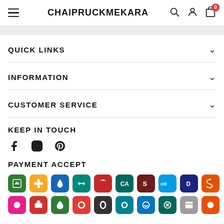CHAIPRUCKMEKARA
QUICK LINKS
INFORMATION
CUSTOMER SERVICE
KEEP IN TOUCH
PAYMENT ACCEPT
[Figure (logo): Row of payment method icons including various bank and payment logos]